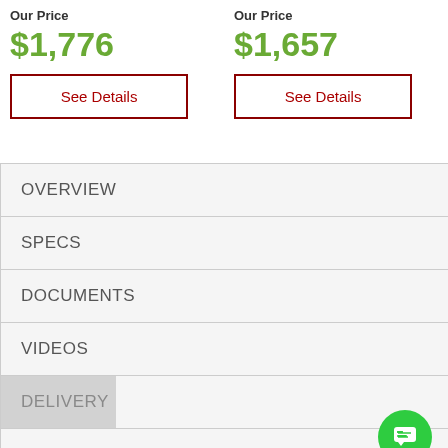Our Price
$1,776
Our Price
$1,657
See Details
See Details
OVERVIEW
SPECS
DOCUMENTS
VIDEOS
DELIVERY
WARRANTY